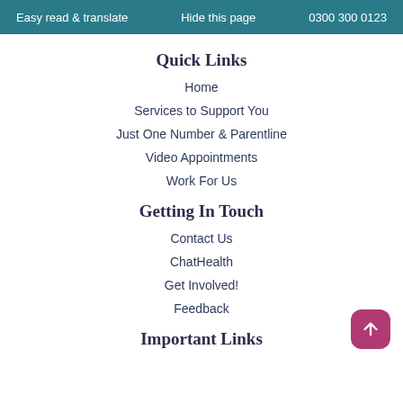Easy read & translate   Hide this page   0300 300 0123
Quick Links
Home
Services to Support You
Just One Number & Parentline
Video Appointments
Work For Us
Getting In Touch
Contact Us
ChatHealth
Get Involved!
Feedback
Important Links